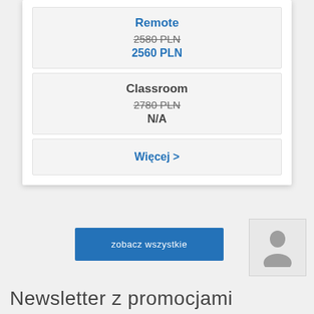Remote
2580 PLN
2560 PLN
Classroom
2780 PLN
N/A
Więcej >
zobacz wszystkie
Newsletter z promocjami